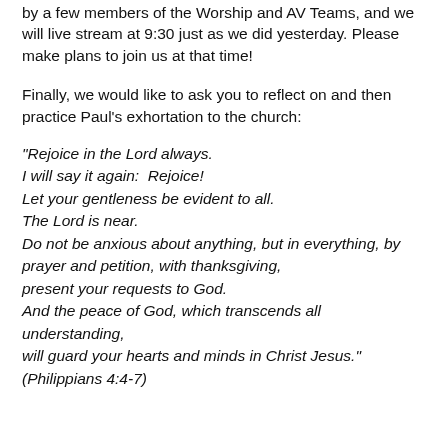by a few members of the Worship and AV Teams, and we will live stream at 9:30 just as we did yesterday. Please make plans to join us at that time!
Finally, we would like to ask you to reflect on and then practice Paul's exhortation to the church:
“Rejoice in the Lord always. I will say it again:  Rejoice! Let your gentleness be evident to all. The Lord is near. Do not be anxious about anything, but in everything, by prayer and petition, with thanksgiving, present your requests to God. And the peace of God, which transcends all understanding, will guard your hearts and minds in Christ Jesus.” (Philippians 4:4-7)